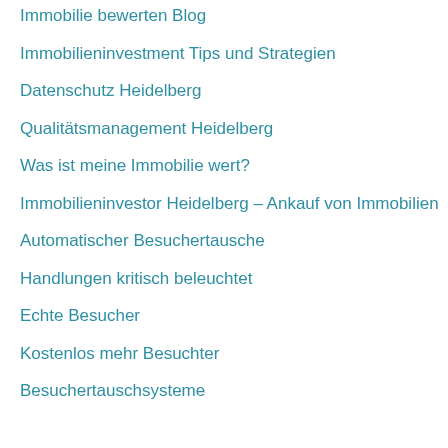Immobilie bewerten Blog
Immobilieninvestment Tips und Strategien
Datenschutz Heidelberg
Qualitätsmanagement Heidelberg
Was ist meine Immobilie wert?
Immobilieninvestor Heidelberg – Ankauf von Immobilien
Automatischer Besuchertausche
Handlungen kritisch beleuchtet
Echte Besucher
Kostenlos mehr Besuchter
Besuchertauschsysteme